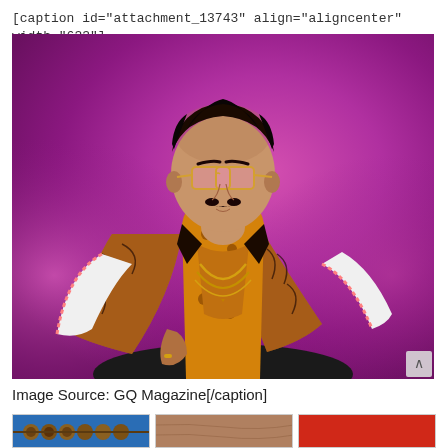[caption id="attachment_13743" align="aligncenter" width="633"]
[Figure (photo): A man wearing ornate patterned jacket with gold chains and pink-tinted glasses, posed against a bright magenta/purple textured wall background. Fashion photo in vibrant colors.]
Image Source: GQ Magazine[/caption]
[Figure (photo): Three thumbnail images at the bottom: wooden beads on blue background, brown leather texture, and red fabric/surface.]